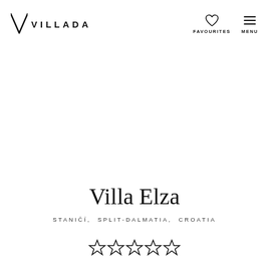VILLADA | FAVOURITES | MENU
Villa Elza
STANICI, SPLIT-DALMATIA, CROATIA
[Figure (illustration): Five star rating icons (stars) partially visible at bottom of page]